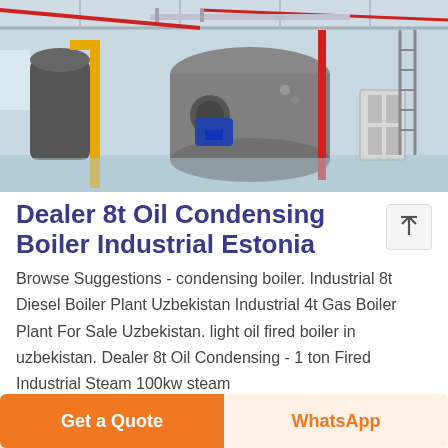[Figure (photo): Industrial boiler room with large cylindrical boilers, yellow gas pipes, red structural columns, blue motor units on boilers, and a white door in background. Facility has high ceilings with metal beams.]
Dealer 8t Oil Condensing Boiler Industrial Estonia
Browse Suggestions - condensing boiler. Industrial 8t Diesel Boiler Plant Uzbekistan Industrial 4t Gas Boiler Plant For Sale Uzbekistan. light oil fired boiler in uzbekistan. Dealer 8t Oil Condensing - 1 ton Fired Industrial Steam 100kw steam
Get a Quote
WhatsApp